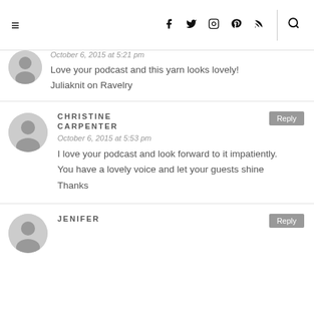Navigation bar with hamburger menu, social icons (Facebook, Twitter, Instagram, Pinterest, RSS), and search icon
October 6, 2015 at 5:21 pm
Love your podcast and this yarn looks lovely!
Juliaknit on Ravelry
CHRISTINE CARPENTER
October 6, 2015 at 5:53 pm
I love your podcast and look forward to it impatiently.
You have a lovely voice and let your guests shine
Thanks
JENIFER